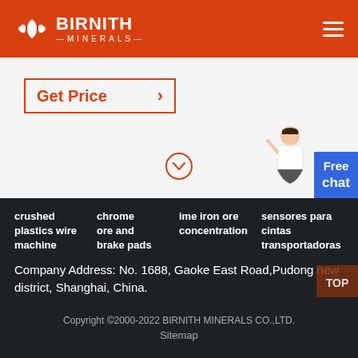[Figure (logo): Birnith Minerals logo with orange background, hexagonal icon and white text BIRNITH MINERALS]
Get Price →
[Figure (illustration): Scroll down chevron icon and customer service assistant figure with Free chat widget]
crushed plastics wire machine	chrome ore and brake pads	ime iron ore concentration	sensores para cintas transportadoras
Company Address: No. 1688, Gaoke East Road,Pudong new district, Shanghai, China.
Copyright ©2000-2022 BIRNITH MINERALS CO.,LTD.
Sitemap